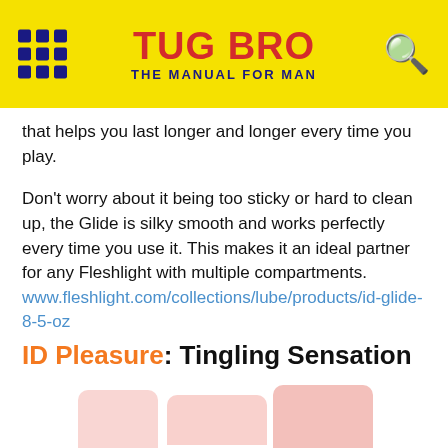TUG BRO THE MANUAL FOR MAN
that helps you last longer and longer every time you play.
Don't worry about it being too sticky or hard to clean up, the Glide is silky smooth and works perfectly every time you use it. This makes it an ideal partner for any Fleshlight with multiple compartments. www.fleshlight.com/collections/lube/products/id-glide-8-5-oz
ID Pleasure: Tingling Sensation
[Figure (photo): Two pink/red product bottles partially visible at the bottom of the page]